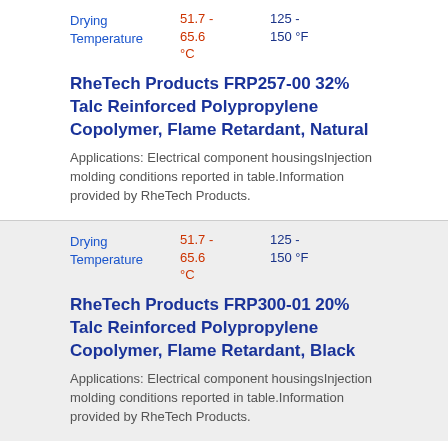| Property | Celsius | Fahrenheit |
| --- | --- | --- |
| Drying Temperature | 51.7 - 65.6 °C | 125 - 150 °F |
RheTech Products FRP257-00 32% Talc Reinforced Polypropylene Copolymer, Flame Retardant, Natural
Applications: Electrical component housingsInjection molding conditions reported in table.Information provided by RheTech Products.
| Property | Celsius | Fahrenheit |
| --- | --- | --- |
| Drying Temperature | 51.7 - 65.6 °C | 125 - 150 °F |
RheTech Products FRP300-01 20% Talc Reinforced Polypropylene Copolymer, Flame Retardant, Black
Applications: Electrical component housingsInjection molding conditions reported in table.Information provided by RheTech Products.